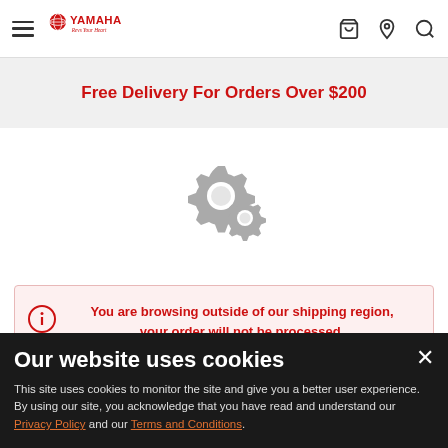Yamaha — Revs Your Heart
Free Delivery For Orders Over $200
[Figure (illustration): Two interlocking grey gear icons representing a loading or processing state]
You are browsing outside of our shipping region, your order will not be processed. Please visit your local Yamaha websites
Our website uses cookies
This site uses cookies to monitor the site and give you a better user experience. By using our site, you acknowledge that you have read and understand our Privacy Policy and our Terms and Conditions.